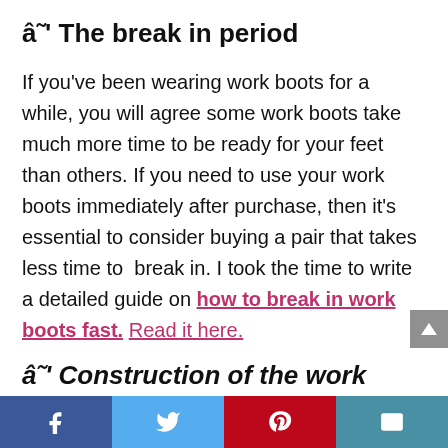â˜' The break in period
If you've been wearing work boots for a while, you will agree some work boots take much more time to be ready for your feet than others. If you need to use your work boots immediately after purchase, then it's essential to consider buying a pair that takes less time to  break in. I took the time to write a detailed guide on how to break in work boots fast. Read it here.
â˜' Construction of the work boot
[Figure (other): Social media share bar with Facebook, Twitter, Pinterest, and Email icons]